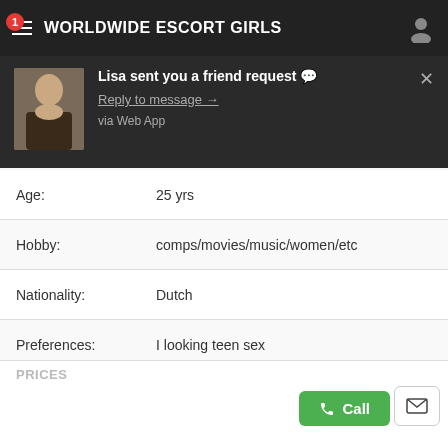WORLDWIDE ESCORT GIRLS
Lisa sent you a friend request 💬
Reply to message →
via Web App
| Field | Value |
| --- | --- |
| Age: | 25 yrs |
| Hobby: | comps/movies/music/women/etc |
| Nationality: | Dutch |
| Preferences: | I looking teen sex |
| Breast: | BB |
| Lingerie: | Sammy Icon |
| Perfumes: | Le Bel Aujourd'hui |
| Orientation: | Bisexuals |
PRICES